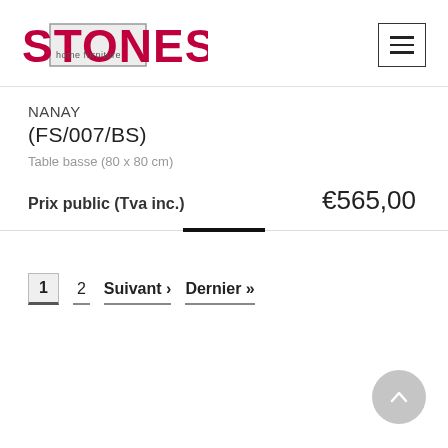[Figure (logo): STONES home furniture logo — bold red STONES text with grey box overlay showing 'home furniture' in small text]
NANAY
(FS/007/BS)
Table basse (80 x 80 cm)
Prix public (Tva inc.)   €565,00
1   2   Suivant›   Dernier »